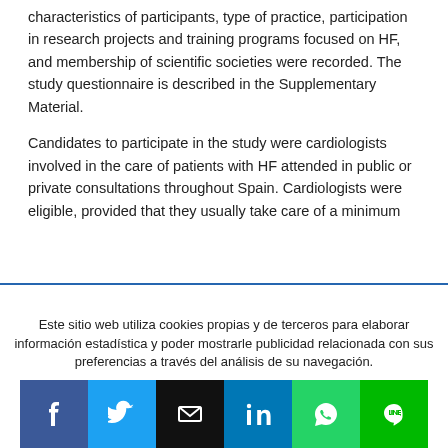characteristics of participants, type of practice, participation in research projects and training programs focused on HF, and membership of scientific societies were recorded. The study questionnaire is described in the Supplementary Material.
Candidates to participate in the study were cardiologists involved in the care of patients with HF attended in public or private consultations throughout Spain. Cardiologists were eligible, provided that they usually take care of a minimum
Este sitio web utiliza cookies propias y de terceros para elaborar información estadística y poder mostrarle publicidad relacionada con sus preferencias a través del análisis de su navegación.
Ver detalles
Aceptar
[Figure (other): Social media sharing icons row: Facebook (blue), Twitter (light blue), Email (black), LinkedIn (blue), WhatsApp (green), LINE (green)]